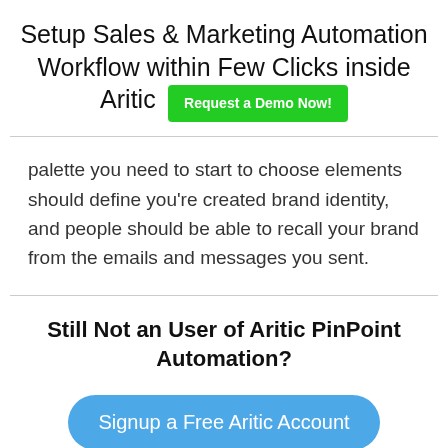Setup Sales & Marketing Automation Workflow within Few Clicks inside Aritic
palette you need to start to choose elements should define you're created brand identity, and people should be able to recall your brand from the emails and messages you sent.
Still Not an User of Aritic PinPoint Automation?